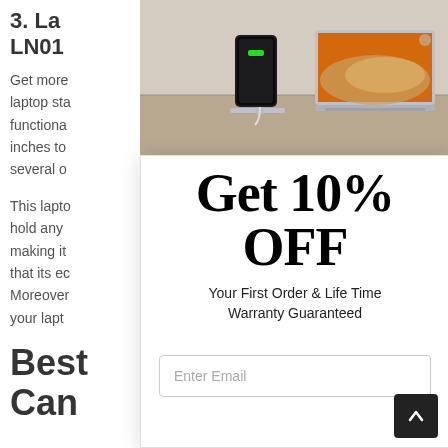3. La... LN01...
Get more... this laptop sta... a fully functional... from 10 inches to... Pro and several o... ok.
This lapto... ng you to hold any ... lloy, making it... uarantee that its ec... tches. Moreover... er so that your lapt...
[Figure (photo): Product photo showing a metal phone/tablet stand on a desk with a laptop in the background]
Get 10% OFF
Your First Order & Life Time Warranty Guaranteed
Enter Email
Best... Can...